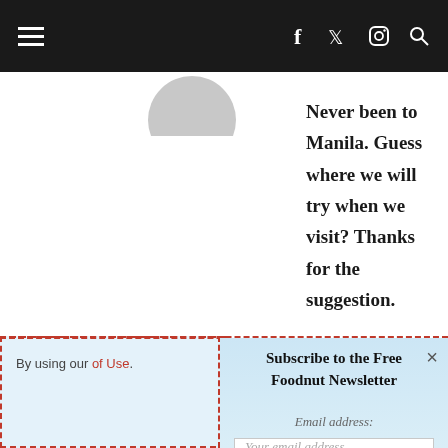Navigation bar with hamburger menu and social icons (Facebook, Twitter, Instagram, Search)
Never been to Manila. Guess where we will try when we visit? Thanks for the suggestion.
[Figure (screenshot): Newsletter subscription popup with title 'Subscribe to the Free Foodnut Newsletter', email address input field, and SIGN UP button, with a red dashed border outline and a close (×) button]
By using our ... of Use.